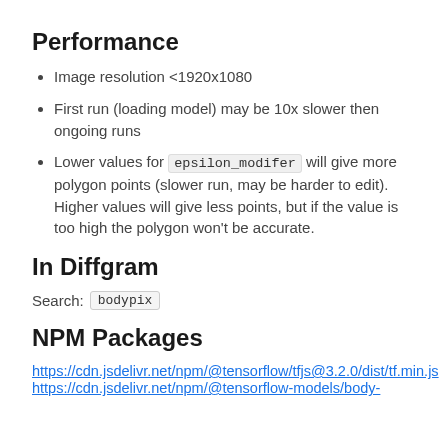Performance
Image resolution <1920x1080
First run (loading model) may be 10x slower then ongoing runs
Lower values for epsilon_modifer will give more polygon points (slower run, may be harder to edit). Higher values will give less points, but if the value is too high the polygon won't be accurate.
In Diffgram
Search: bodypix
NPM Packages
https://cdn.jsdelivr.net/npm/@tensorflow/tfjs@3.2.0/dist/tf.min.js
https://cdn.jsdelivr.net/npm/@tensorflow-models/body-